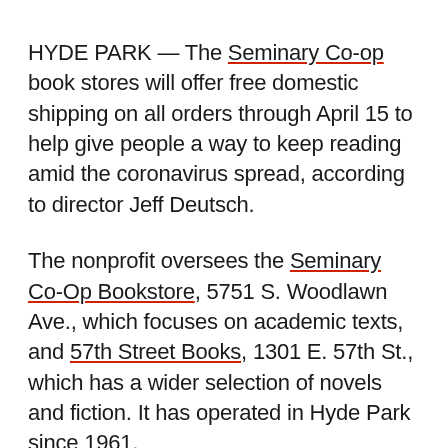HYDE PARK — The Seminary Co-op book stores will offer free domestic shipping on all orders through April 15 to help give people a way to keep reading amid the coronavirus spread, according to director Jeff Deutsch.
The nonprofit oversees the Seminary Co-Op Bookstore, 5751 S. Woodlawn Ave., which focuses on academic texts, and 57th Street Books, 1301 E. 57th St., which has a wider selection of novels and fiction. It has operated in Hyde Park since 1961.
He said staffers have “exponentially increased our cleaning” of the stores as they follow local, state and federal guidelines and instructions from their